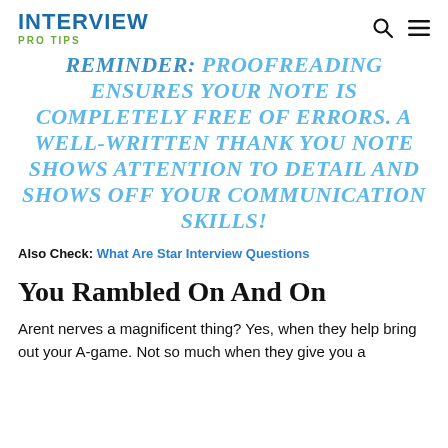INTERVIEW PRO TIPS
REMINDER: PROOFREADING ENSURES YOUR NOTE IS COMPLETELY FREE OF ERRORS. A WELL-WRITTEN THANK YOU NOTE SHOWS ATTENTION TO DETAIL AND SHOWS OFF YOUR COMMUNICATION SKILLS!
Also Check: What Are Star Interview Questions
You Rambled On And On
Arent nerves a magnificent thing? Yes, when they help bring out your A-game. Not so much when they give you a